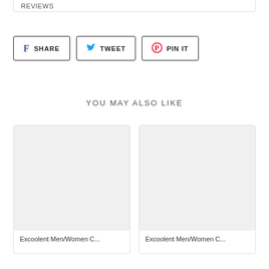REVIEWS
SHARE  TWEET  PIN IT
YOU MAY ALSO LIKE
[Figure (photo): Product image placeholder - gray rectangle for Excoolent Men/Women C...]
Excoolent Men/Women C...
[Figure (photo): Product image placeholder - gray rectangle for Excoolent Men/Women C...]
Excoolent Men/Women C...